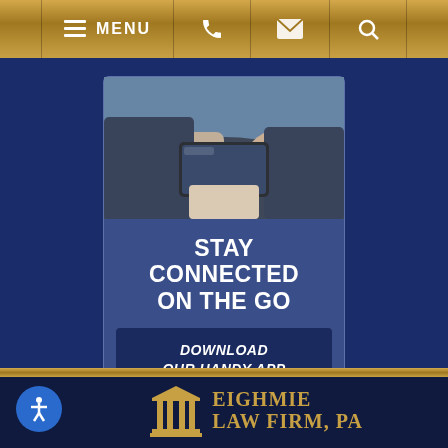MENU
[Figure (screenshot): Mobile app promotional card showing a person in a suit holding a smartphone, with text 'STAY CONNECTED ON THE GO' and a button 'DOWNLOAD OUR HANDY APP']
STAY CONNECTED ON THE GO
DOWNLOAD OUR HANDY APP
[Figure (logo): Eighmie Law Firm PA logo with a courthouse column icon and gold text reading EIGHMIE LAW FIRM, PA]